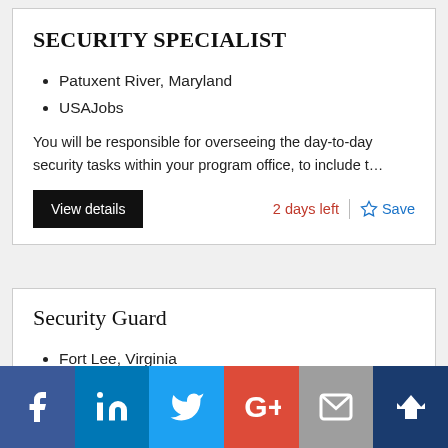SECURITY SPECIALIST
Patuxent River, Maryland
USAJobs
You will be responsible for overseeing the day-to-day security tasks within your program office, to include t…
2 days left
Security Guard
Fort Lee, Virginia
USAJobs
[Figure (infographic): Social media sharing bar with icons for Facebook, LinkedIn, Twitter, Google+, Email, and MeWe/crown icon]